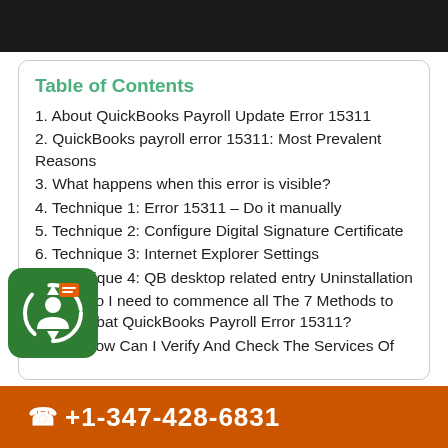Table of Contents
1. About QuickBooks Payroll Update Error 15311
2. QuickBooks payroll error 15311: Most Prevalent Reasons
3. What happens when this error is visible?
4. Technique 1: Error 15311 – Do it manually
5. Technique 2: Configure Digital Signature Certificate
6. Technique 3: Internet Explorer Settings
7. Technique 4: QB desktop related entry Uninstallation
1. Do I need to commence all The 7 Methods to combat QuickBooks Payroll Error 15311?
2. How Can I Verify And Check The Services Of
+1-347-428-6831